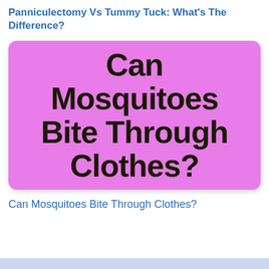Panniculectomy Vs Tummy Tuck: What's The Difference?
[Figure (illustration): Pink/violet rounded rectangle card with bold black text reading 'Can Mosquitoes Bite Through Clothes?']
Can Mosquitoes Bite Through Clothes?